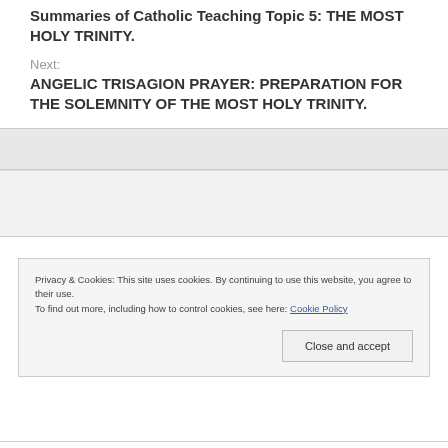Summaries of Catholic Teaching Topic 5: THE MOST HOLY TRINITY.
Next:
ANGELIC TRISAGION PRAYER: PREPARATION FOR THE SOLEMNITY OF THE MOST HOLY TRINITY.
Privacy & Cookies: This site uses cookies. By continuing to use this website, you agree to their use.
To find out more, including how to control cookies, see here: Cookie Policy
Close and accept